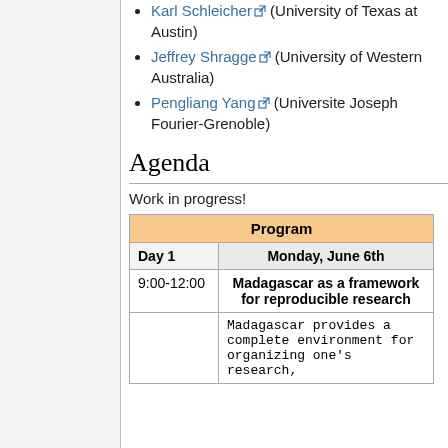Karl Schleicher (University of Texas at Austin)
Jeffrey Shragge (University of Western Australia)
Pengliang Yang (Universite Joseph Fourier-Grenoble)
Agenda
Work in progress!
| Program |
| --- |
| Day 1 | Monday, June 6th |
| 9:00-12:00 | Madagascar as a framework for reproducible research |
|  | Madagascar provides a complete environment for organizing one's research, |